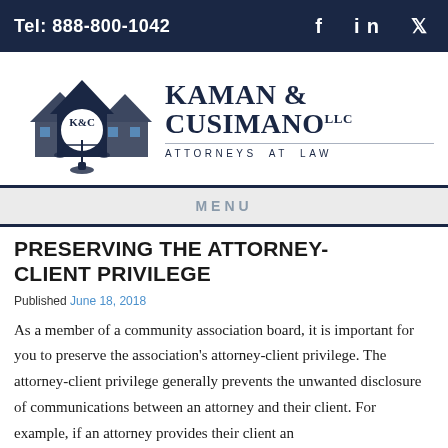Tel: 888-800-1042
[Figure (logo): Kaman & Cusimano LLC law firm logo with house silhouettes and scales of justice, text reads KAMAN & CUSIMANO LLC Attorneys at Law]
MENU
PRESERVING THE ATTORNEY-CLIENT PRIVILEGE
Published June 18, 2018
As a member of a community association board, it is important for you to preserve the association's attorney-client privilege. The attorney-client privilege generally prevents the unwanted disclosure of communications between an attorney and their client. For example, if an attorney provides their client an